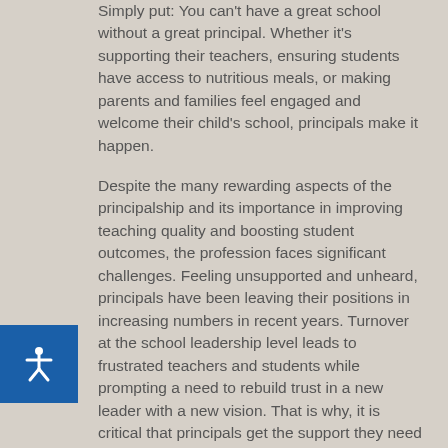Simply put: You can't have a great school without a great principal. Whether it's supporting their teachers, ensuring students have access to nutritious meals, or making parents and families feel engaged and welcome their child's school, principals make it happen.
Despite the many rewarding aspects of the principalship and its importance in improving teaching quality and boosting student outcomes, the profession faces significant challenges. Feeling unsupported and unheard, principals have been leaving their positions in increasing numbers in recent years. Turnover at the school leadership level leads to frustrated teachers and students while prompting a need to rebuild trust in a new leader with a new vision. That is why, it is critical that principals get the support they need from policymakers to ensure they're properly prepared, supported, and compensated to meet the day-to-day challenges of leading a school.